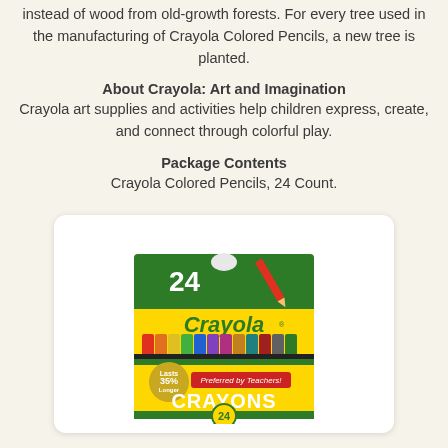instead of wood from old-growth forests. For every tree used in the manufacturing of Crayola Colored Pencils, a new tree is planted.
About Crayola: Art and Imagination
Crayola art supplies and activities help children express, create, and connect through colorful play.
Package Contents
Crayola Colored Pencils, 24 Count.
[Figure (photo): Crayola Crayons 24 count box product photo. Yellow box with green top, showing colored crayons, Crayola branding, 'Lasts 35% Longer' badge, 'Preferred by Teachers!' text, and CRAYONS label with 24 count at bottom.]